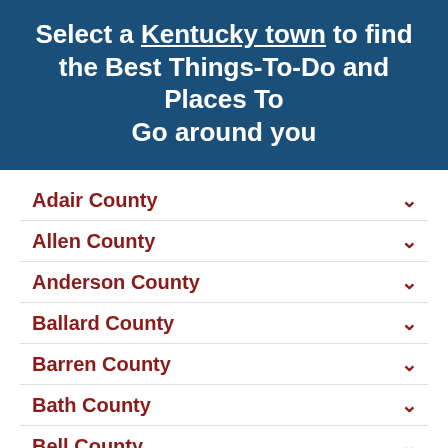Select a Kentucky town to find the Best Things-To-Do and Places To Go around you
Adair County
Allen County
Anderson County
Ballard County
Barren County
Bath County
Bell County
Boone County